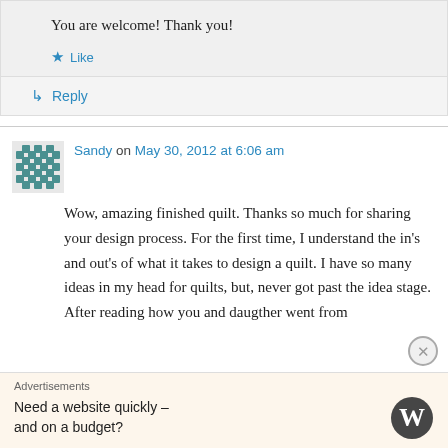You are welcome! Thank you!
★ Like
↳ Reply
Sandy on May 30, 2012 at 6:06 am
Wow, amazing finished quilt. Thanks so much for sharing your design process. For the first time, I understand the in's and out's of what it takes to design a quilt. I have so many ideas in my head for quilts, but, never got past the idea stage. After reading how you and daugther went from
Advertisements
Need a website quickly – and on a budget?